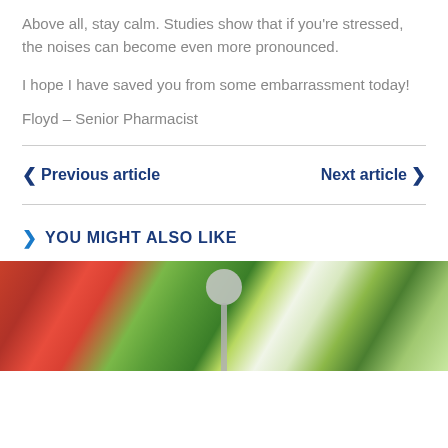Above all, stay calm. Studies show that if you're stressed, the noises can become even more pronounced.
I hope I have saved you from some embarrassment today!
Floyd – Senior Pharmacist
< Previous article    Next article >
YOU MIGHT ALSO LIKE
[Figure (photo): Colorful salad with vegetables and a spoon/fork, blurred background with reds, greens, and whites]